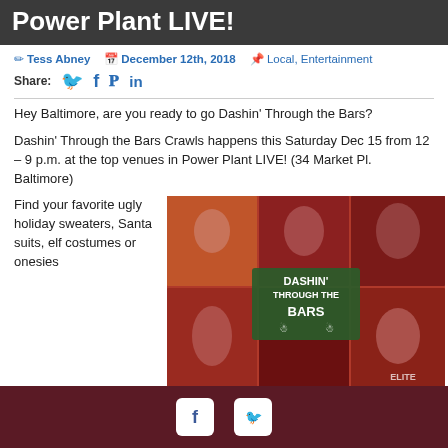Power Plant LIVE!
✏ Tess Abney  📅 December 12th, 2018  📌 Local, Entertainment
Share:
Hey Baltimore, are you ready to go Dashin' Through the Bars?
Dashin' Through the Bars Crawls happens this Saturday Dec 15 from 12 – 9 p.m. at the top venues in Power Plant LIVE! (34 Market Pl. Baltimore)
[Figure (photo): Collage of people in holiday/Christmas costumes at a bar crawl event, with a sign reading DASHIN' THROUGH THE BARS]
Find your favorite ugly holiday sweaters, Santa suits, elf costumes or onesies and have a fun-filled day with friends!
Facebook and Twitter social media icons